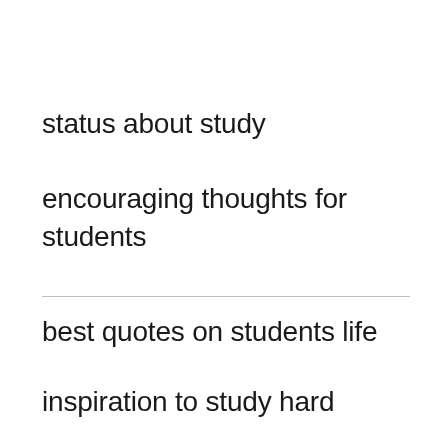status about study
encouraging thoughts for students
best quotes on students life
inspiration to study hard